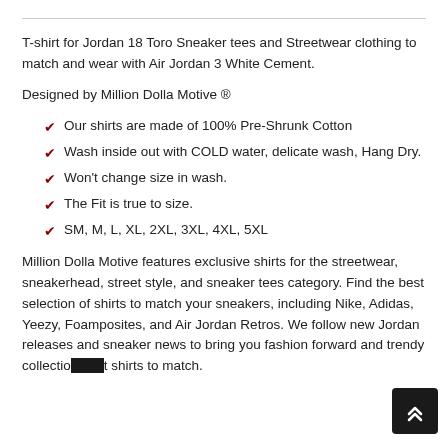T-shirt for Jordan 18 Toro Sneaker tees and Streetwear clothing to match and wear with Air Jordan 3 White Cement.
Designed by Million Dolla Motive ®
Our shirts are made of 100% Pre-Shrunk Cotton
Wash inside out with COLD water, delicate wash, Hang Dry.
Won't change size in wash.
The Fit is true to size.
SM, M, L, XL, 2XL, 3XL, 4XL, 5XL
Million Dolla Motive features exclusive shirts for the streetwear, sneakerhead, street style, and sneaker tees category. Find the best selection of shirts to match your sneakers, including Nike, Adidas, Yeezy, Foamposites, and Air Jordan Retros. We follow new Jordan releases and sneaker news to bring you fashion forward and trendy collections of shirts to match.